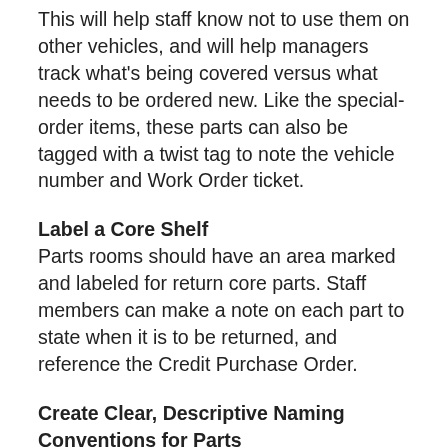This will help staff know not to use them on other vehicles, and will help managers track what's being covered versus what needs to be ordered new. Like the special-order items, these parts can also be tagged with a twist tag to note the vehicle number and Work Order ticket.
Label a Core Shelf
Parts rooms should have an area marked and labeled for return core parts. Staff members can make a note on each part to state when it is to be returned, and reference the Credit Purchase Order.
Create Clear, Descriptive Naming Conventions for Parts